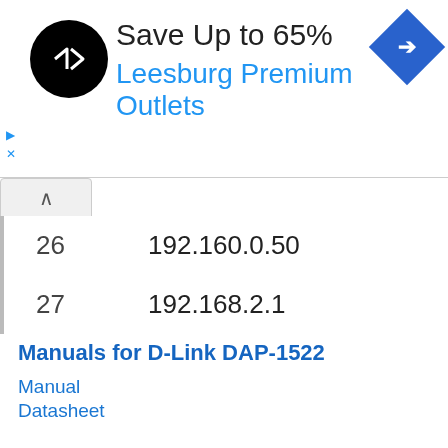[Figure (other): Advertisement banner: black circular logo with arrows icon, text 'Save Up to 65%' and 'Leesburg Premium Outlets' in blue, blue diamond navigation icon on right, play and close controls on left]
| 26 | 192.160.0.50 |
| 27 | 192.168.2.1 |
Manuals for D-Link DAP-1522
Manual
Datasheet
Nothing of the methods worked for me and I still not get access to my D-Link !
All you need to do is to reset your modem. This can be done easily by clicking on the